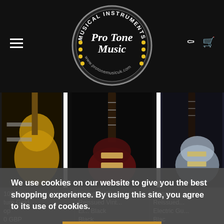[Figure (logo): ProTone Music circular logo with text 'Musical Instruments' around the top, 'ProTone Music' in the center, and 'www.protonemusicuk.com' at the bottom. Yellow dots decorate the border.]
[Figure (photo): Horizontal strip showing three electric guitars: a gold/yellow guitar on left, a dark Jazzmaster-style guitar in the center, and a light blue/silver Stratocaster-style guitar on the right, separated by white gaps.]
We use cookies on our website to give you the best shopping experience. By using this site, you agree to its use of cookies.
Yes, I agree
100 Midge
ture Gold
op
0 GBP
Vintage V65
Reissued Vint...
El... Black
Black
Vintage
Reissued...
Electric Gu...
Blac